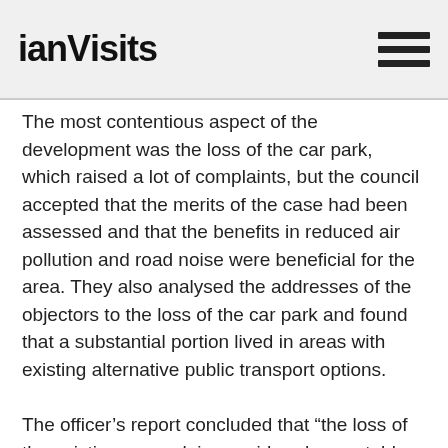ianVisits
The most contentious aspect of the development was the loss of the car park, which raised a lot of complaints, but the council accepted that the merits of the case had been assessed and that the benefits in reduced air pollution and road noise were beneficial for the area. They also analysed the addresses of the objectors to the loss of the car park and found that a substantial portion lived in areas with existing alternative public transport options.
The officer's report concluded that “the loss of the existing car park is considered acceptable in this instance”.
A corner of one of the two car parks will also be opened up as a courtyard space next to the tube station, which currently lacks a waiting area outside the tube station as it fronts directly onto the main road. That'll be